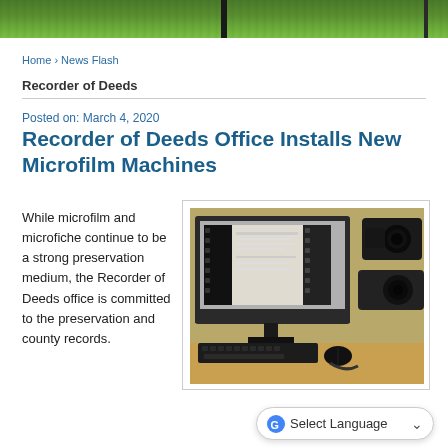[Figure (photo): Green grass outdoor scene with dark posts, top banner image]
Home › News Flash
Recorder of Deeds
Posted on: March 4, 2020
Recorder of Deeds Office Installs New Microfilm Machines
While microfilm and microfiche continue to be a strong preservation medium, the Recorder of Deeds office is committed to the preservation and county records.
[Figure (photo): Photo of a computer monitor displaying microfilm document scanning software, with microfilm camera equipment on a wooden desk]
Select Language